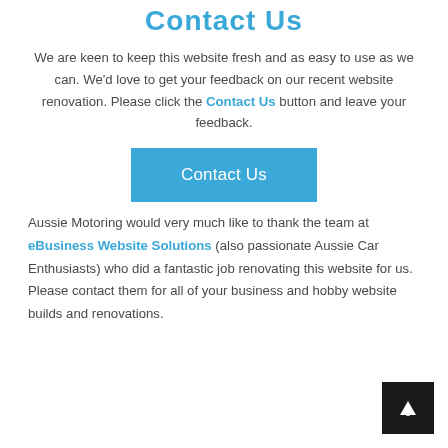Contact Us
We are keen to keep this website fresh and as easy to use as we can. We'd love to get your feedback on our recent website renovation. Please click the Contact Us button and leave your feedback.
[Figure (other): Blue 'Contact Us' button]
Aussie Motoring would very much like to thank the team at eBusiness Website Solutions (also passionate Aussie Car Enthusiasts) who did a fantastic job renovating this website for us. Please contact them for all of your business and hobby website builds and renovations.
[Figure (other): Back to top arrow button in black square, bottom right corner]